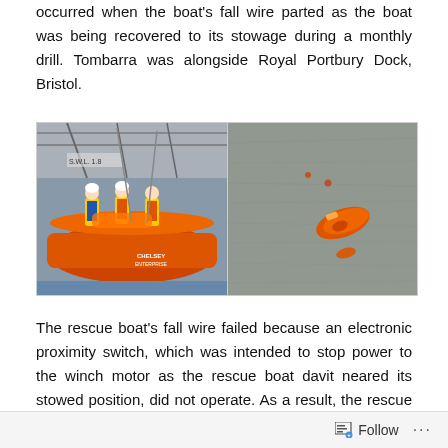occurred when the boat's fall wire parted as the boat was being recovered to its stowage during a monthly drill. Tombarra was alongside Royal Portbury Dock, Bristol.
[Figure (photo): Two photos side by side: left shows crew members in high-visibility jackets aboard an orange rescue boat at a dock; right shows an orange object (fallen rescue boat davit component) lying on water surface.]
The rescue boat's fall wire failed because an electronic proximity switch, which was intended to stop power to the winch motor as the rescue boat davit neared its stowed position, did not operate. As a result, the rescue boat was